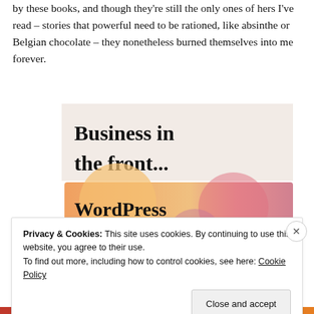by these books, and though they're still the only ones of hers I've read – stories that powerful need to be rationed, like absinthe or Belgian chocolate – they nonetheless burned themselves into me forever.
[Figure (screenshot): Advertisement image with two sections: top section with light beige/pink background showing bold text 'Business in the front...', and bottom section with orange/peach gradient background showing bold text 'WordPress in the back.']
Privacy & Cookies: This site uses cookies. By continuing to use this website, you agree to their use.
To find out more, including how to control cookies, see here: Cookie Policy
Close and accept